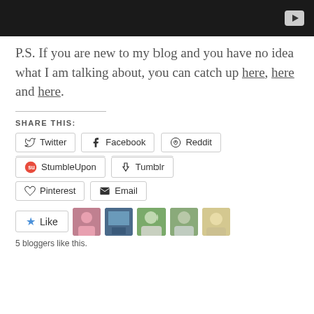[Figure (screenshot): Dark video player bar with YouTube play button icon in top right]
P.S. If you are new to my blog and you have no idea what I am talking about, you can catch up here, here and here.
SHARE THIS:
[Figure (screenshot): Social share buttons: Twitter, Facebook, Reddit, StumbleUpon, Tumblr, Pinterest, Email]
[Figure (screenshot): Like button with star icon and 5 blogger avatar thumbnails]
5 bloggers like this.